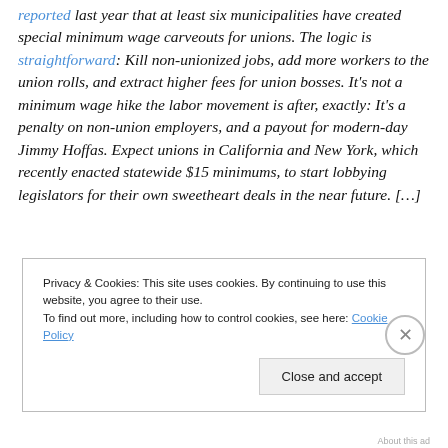reported last year that at least six municipalities have created special minimum wage carveouts for unions. The logic is straightforward: Kill non-unionized jobs, add more workers to the union rolls, and extract higher fees for union bosses. It's not a minimum wage hike the labor movement is after, exactly: It's a penalty on non-union employers, and a payout for modern-day Jimmy Hoffas. Expect unions in California and New York, which recently enacted statewide $15 minimums, to start lobbying legislators for their own sweetheart deals in the near future. […]
Privacy & Cookies: This site uses cookies. By continuing to use this website, you agree to their use.
To find out more, including how to control cookies, see here: Cookie Policy